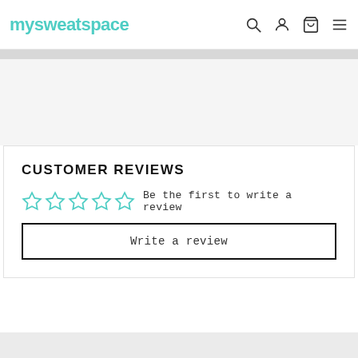mysweatspace
CUSTOMER REVIEWS
☆☆☆☆☆  Be the first to write a review
Write a review